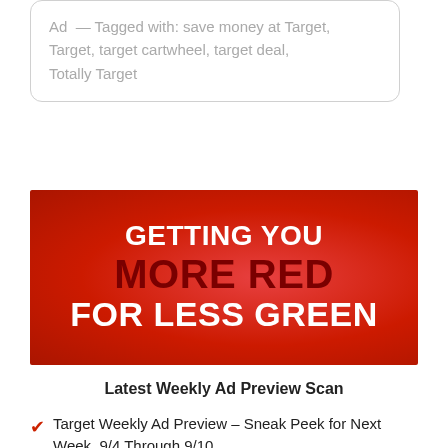Ad  —  Tagged with: save money at Target, Target, target cartwheel, target deal, Totally Target
[Figure (infographic): Red banner advertisement with text: GETTING YOU MORE RED FOR LESS GREEN]
Latest Weekly Ad Preview Scan
Target Weekly Ad Preview – Sneak Peek for Next Week, 9/4 Through 9/10